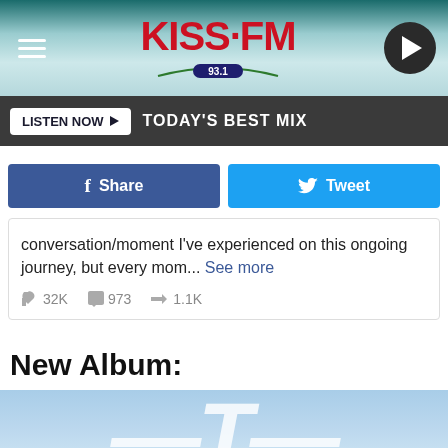KISS FM 93.1 — TODAY'S BEST MIX
LISTEN NOW ▶  TODAY'S BEST MIX
f  Share    🐦  Tweet
conversation/moment I've experienced on this ongoing journey, but every mom... See more
32K   973   1.1K
New Album:
[Figure (photo): Partial album cover image showing a blue sky background with white text partially visible at the bottom]